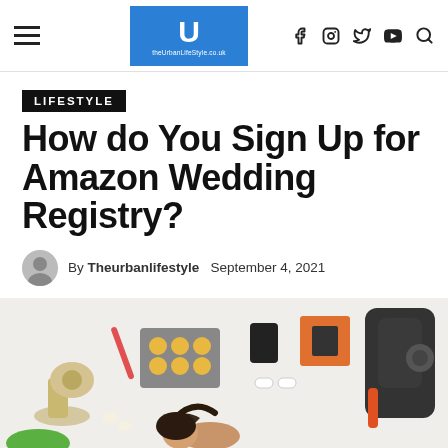theUrbanLifeStyle.co.uk — site header with navigation icons
LIFESTYLE
How do You Sign Up for Amazon Wedding Registry?
By Theurbanlifestyle  September 4, 2021
[Figure (photo): Overhead flat-lay photo of kitchen and outdoor items including a stand mixer, muffin tray with cupcakes, spatula, earphones, a green bowl, and a dark hiking backpack, with a person lying in the center]